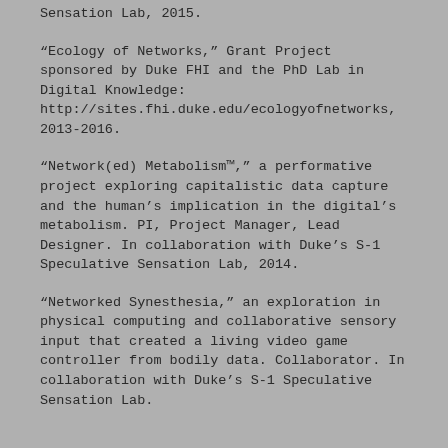Sensation Lab, 2015.
“Ecology of Networks,” Grant Project sponsored by Duke FHI and the PhD Lab in Digital Knowledge: http://sites.fhi.duke.edu/ecologyofnetworks, 2013-2016.
“Network(ed) Metabolism™,” a performative project exploring capitalistic data capture and the human’s implication in the digital’s metabolism. PI, Project Manager, Lead Designer. In collaboration with Duke’s S-1 Speculative Sensation Lab, 2014.
“Networked Synesthesia,” an exploration in physical computing and collaborative sensory input that created a living video game controller from bodily data. Collaborator. In collaboration with Duke’s S-1 Speculative Sensation Lab.